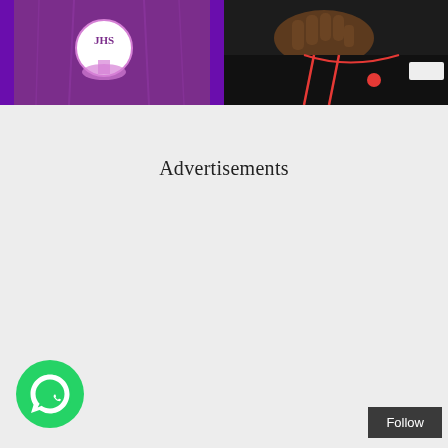[Figure (photo): Two side-by-side photos cropped at top. Left: purple fabric with JHS embroidered logo in white/pink. Right: dark-skinned person wearing black garment with red piping and a red button, holding something.]
Advertisements
[Figure (logo): WhatsApp circular green icon with white phone handset]
Follow